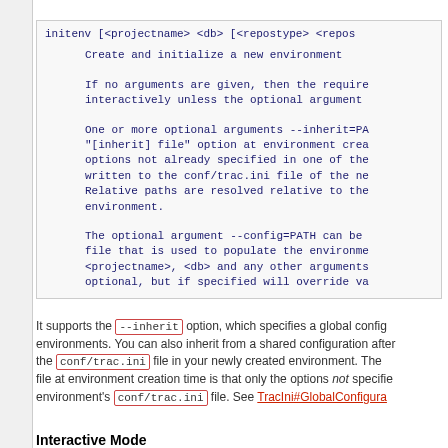initenv [<projectname> <db> [<repostype> <repos...
Create and initialize a new environment

If no arguments are given, then the required arguments are requested interactively unless the optional argument ...

One or more optional arguments --inherit=PA... "[inherit] file" option at environment crea... options not already specified in one of the... written to the conf/trac.ini file of the ne... Relative paths are resolved relative to the... environment.

The optional argument --config=PATH can be ... file that is used to populate the environme... <projectname>, <db> and any other arguments... optional, but if specified will override va...
It supports the --inherit option, which specifies a global config... environments. You can also inherit from a shared configuration after... the conf/trac.ini file in your newly created environment. The ... file at environment creation time is that only the options not specified ... environment's conf/trac.ini file. See TracIni#GlobalConfigura...
Interactive Mode